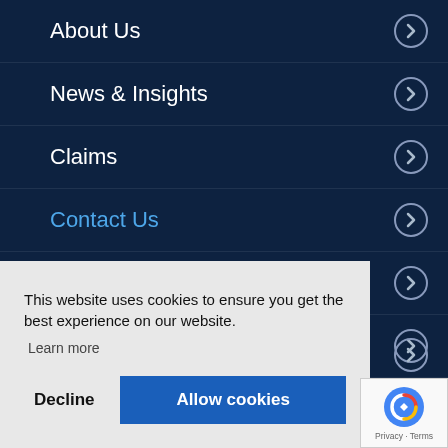About Us
News & Insights
Claims
Contact Us
Gender Pay Gap Report
Wholesale
Corporate & Commercial
This website uses cookies to ensure you get the best experience on our website. Learn more
Decline | Allow cookies